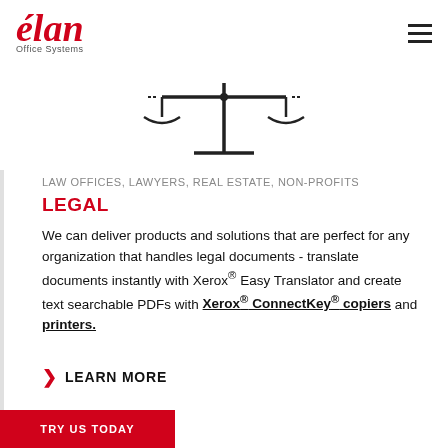[Figure (logo): Élan Office Systems logo in red italic serif font]
[Figure (illustration): Balance/scales of justice icon in black line art]
LAW OFFICES, LAWYERS, REAL ESTATE, NON-PROFITS
LEGAL
We can deliver products and solutions that are perfect for any organization that handles legal documents - translate documents instantly with Xerox® Easy Translator and create text searchable PDFs with Xerox® ConnectKey® copiers and printers.
LEARN MORE
TRY US TODAY